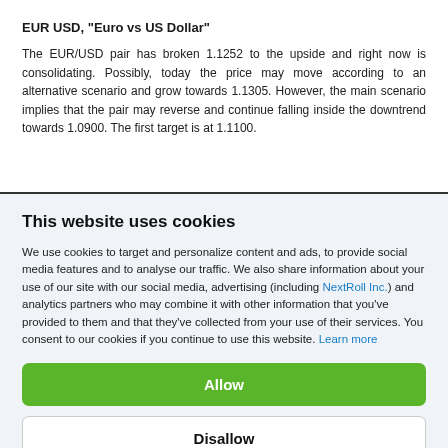EUR USD, "Euro vs US Dollar"
The EUR/USD pair has broken 1.1252 to the upside and right now is consolidating. Possibly, today the price may move according to an alternative scenario and grow towards 1.1305. However, the main scenario implies that the pair may reverse and continue falling inside the downtrend towards 1.0900. The first target is at 1.1100.
This website uses cookies
We use cookies to target and personalize content and ads, to provide social media features and to analyse our traffic. We also share information about your use of our site with our social media, advertising (including NextRoll Inc.) and analytics partners who may combine it with other information that you've provided to them and that they've collected from your use of their services. You consent to our cookies if you continue to use this website. Learn more
Allow
Disallow